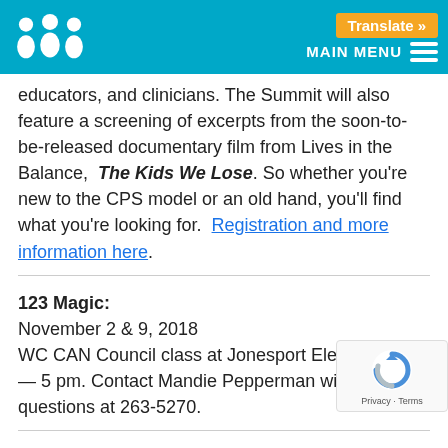Translate » MAIN MENU
educators, and clinicians. The Summit will also feature a screening of excerpts from the soon-to-be-released documentary film from Lives in the Balance, The Kids We Lose. So whether you're new to the CPS model or an old hand, you'll find what you're looking for. Registration and more information here.
123 Magic:
November 2 & 9, 2018
WC CAN Council class at Jonesport Elementary, 3 — 5 pm. Contact Mandie Pepperman with questions at 263-5270.
Autism Fall Conference: